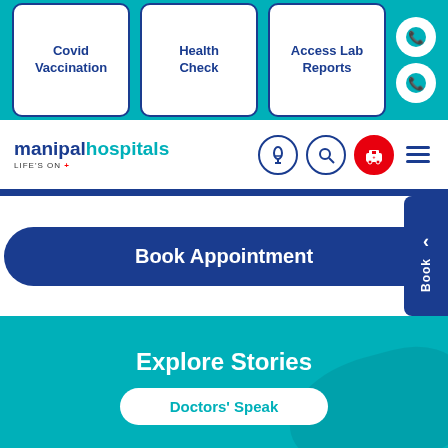[Figure (screenshot): Manipal Hospitals website screenshot showing navigation with Covid Vaccination, Health Check, Access Lab Reports buttons, logo with microphone/search/ambulance/menu icons, Book Appointment button, Explore Stories section with Doctors Speak tab, stories strip with Manipal Hospitals logo tiles and person, bottom bar with Health Check and Book An Appointment]
Covid Vaccination
Health Check
Access Lab Reports
manipalhospitals LIFE'S ON
Book Appointment
Explore Stories
Doctors' Speak
Health Check
Book An Appointment